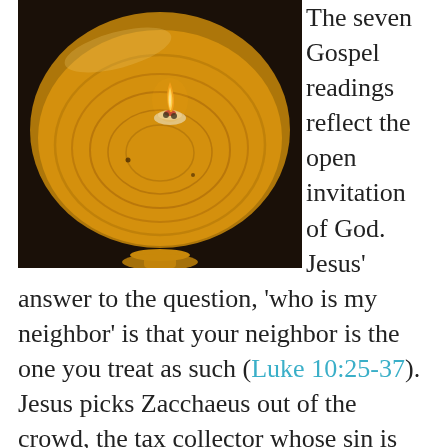[Figure (photo): A glass oil lamp bowl containing golden oil with a small glass float wick holder burning a flame, photographed from above at an angle on a dark surface.]
The seven Gospel readings reflect the open invitation of God. Jesus' answer to the question, 'who is my neighbor' is that your neighbor is the one you treat as such (Luke 10:25-37). Jesus picks Zacchaeus out of the crowd, the tax collector whose sin is evident to all (Luke 19:1-10). Jesus sends his disciples out to freely give healing and